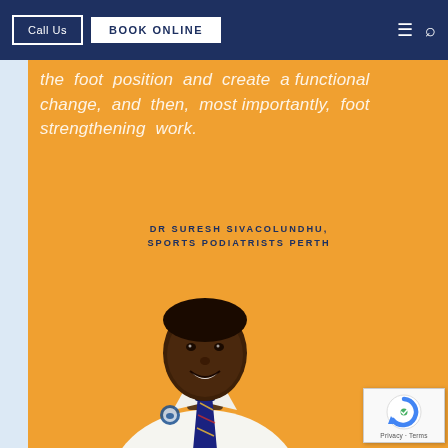Call Us | BOOK ONLINE
the foot position and create a functional change, and then, most importantly, foot strengthening work.
DR SURESH SIVACOLUNDHU, SPORTS PODIATRISTS PERTH
[Figure (photo): Portrait photo of Dr Suresh Sivacolundhu, a man in a white shirt and blue patterned tie with a clinic logo, smiling, photographed against an orange background.]
[Figure (logo): Google reCAPTCHA badge showing the reCAPTCHA logo with 'Privacy - Terms' text]